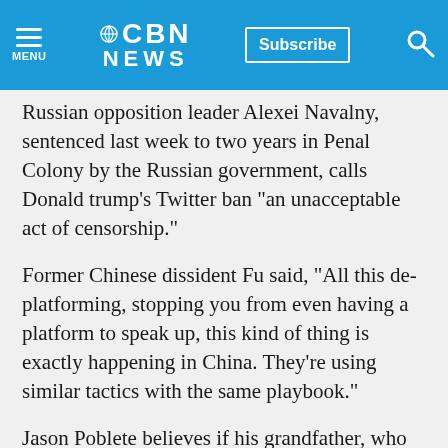CBN NEWS
Russian opposition leader Alexei Navalny, sentenced last week to two years in Penal Colony by the Russian government, calls Donald trump's Twitter ban "an unacceptable act of censorship."
Former Chinese dissident Fu said, "All this de-platforming, stopping you from even having a platform to speak up, this kind of thing is exactly happening in China. They're using similar tactics with the same playbook."
Jason Poblete believes if his grandfather, who loved America deeply, was alive today to see how Trump supporters are being demonized, he'd be scared.